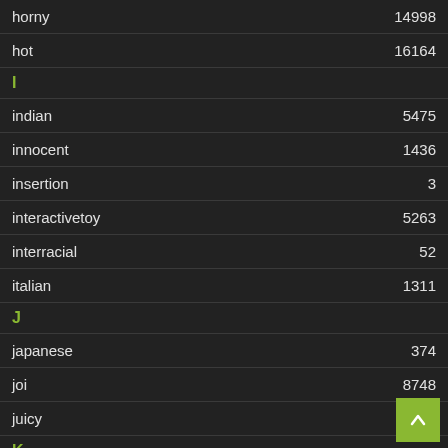horny 14998
hot 16164
I
indian 5475
innocent 1436
insertion 3
interactivetoy 5263
interracial 52
italian 1311
J
japanese 374
joi 8748
juicy 245
K
kinky
kissing